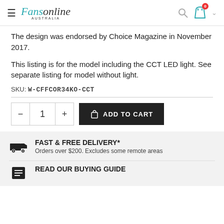Fansonline AUSTRALIA — navigation header with search and cart
The design was endorsed by Choice Magazine in November 2017.
This listing is for the model including the CCT LED light. See separate listing for model without light.
SKU: W-CFFCOR34KO-CCT
ADD TO CART — quantity selector showing 1
FAST & FREE DELIVERY*
Orders over $200. Excludes some remote areas
READ OUR BUYING GUIDE